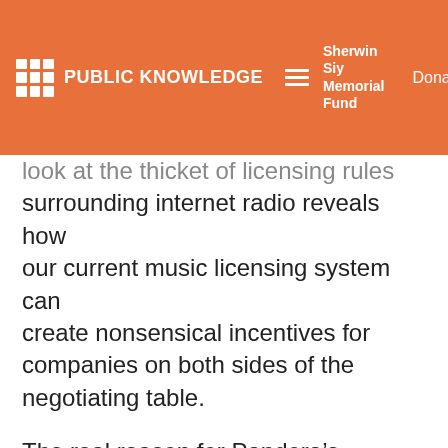PUBLIC KNOWLEDGE | Sherwin Siy Memorial Fund | Donate
look at the thicket of licensing rules surrounding internet radio reveals how our current music licensing system can create nonsensical incentives for companies on both sides of the negotiating table.
The real reason for Pandora’s purchase of an FM radio station is Pandora’s royalty rate for musical compositions on its internet radio service. Note: this is a separate legal issue from the licensing Pandora